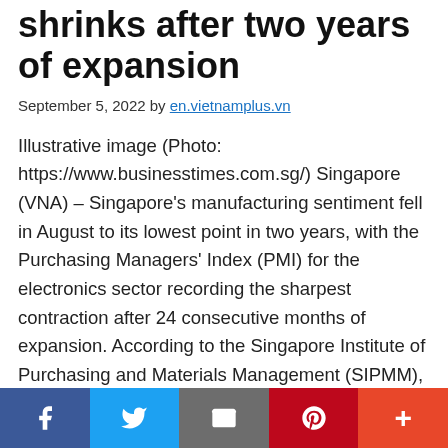shrinks after two years of expansion
September 5, 2022 by en.vietnamplus.vn
Illustrative image (Photo: https://www.businesstimes.com.sg/) Singapore (VNA) – Singapore's manufacturing sentiment fell in August to its lowest point in two years, with the Purchasing Managers' Index (PMI) for the electronics sector recording the sharpest contraction after 24 consecutive months of expansion. According to the Singapore Institute of Purchasing and Materials Management (SIPMM), Singapore's electronics sector PMI decreased by 0.9
f  [twitter]  [email]  p  +